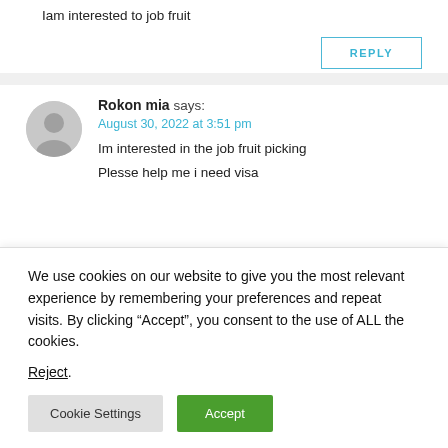Iam interested to job fruit
REPLY
Rokon mia says:
August 30, 2022 at 3:51 pm
Im interested in the job fruit picking
Plesse help me i need visa
We use cookies on our website to give you the most relevant experience by remembering your preferences and repeat visits. By clicking “Accept”, you consent to the use of ALL the cookies.
Reject.
Cookie Settings
Accept